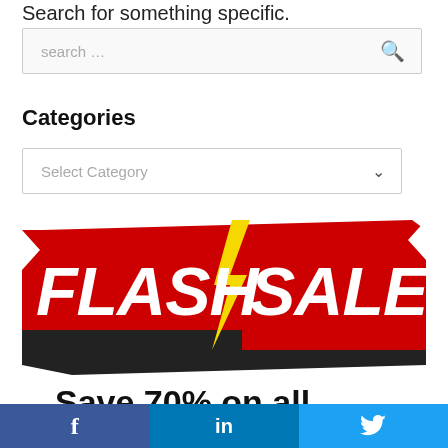Search for something specific.
[Figure (screenshot): Search input box with placeholder text 'search …' and a search icon on the right]
Categories
[Figure (screenshot): Dropdown select box with placeholder 'Select Category' and a chevron down icon]
[Figure (illustration): Flash Sale promotional banner with bold white text on red background, yellow lightning bolt, and 'Save 70% on all' text below]
[Figure (other): Social media share bar with Facebook (blue), LinkedIn (blue), and Twitter (light blue) buttons with icons]